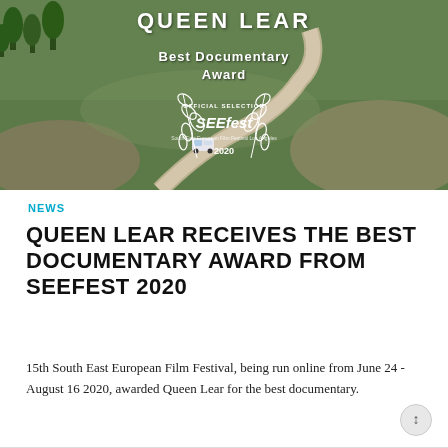[Figure (photo): Aerial photo of a winding mountain road with a van, overlaid with text 'QUEEN LEAR', 'Best Documentary Award', and an official selection laurel badge for SEEfest 2020]
NEWS
QUEEN LEAR RECEIVES THE BEST DOCUMENTARY AWARD FROM SEEFEST 2020
15th South East European Film Festival, being run online from June 24 - August 16 2020, awarded Queen Lear for the best documentary.